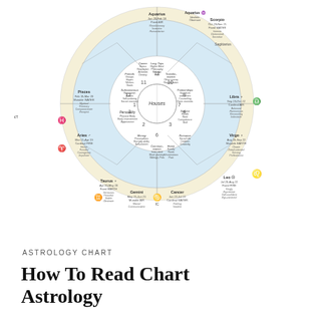[Figure (other): Astrological natal chart wheel showing the 12 zodiac signs, 12 houses, planets, aspects, triplicities, quadruplicities, ASCENDANT and DESCENDANT labels. Signs include Aquarius, Pisces, Aries, Taurus, Gemini, Cancer, Leo, Virgo, Libra, Scorpio, Sagittarius, Capricorn. Houses numbered 1-12. Inner ring shows house meanings. Outer ring shows sign traits. Legend sections for Triplicities and Quadruplicities on lower left, Aspects on lower right.]
ASTROLOGY CHART
How To Read Chart Astrology